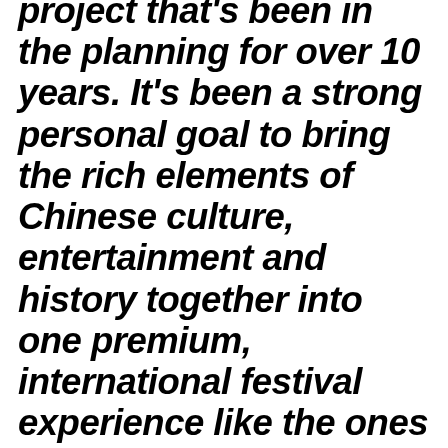project that's been in the planning for over 10 years. It's been a strong personal goal to bring the rich elements of Chinese culture, entertainment and history together into one premium, international festival experience like the ones I grew up with in The Netherlands. The experience that we'll create, bringing the best of both worlds together, will